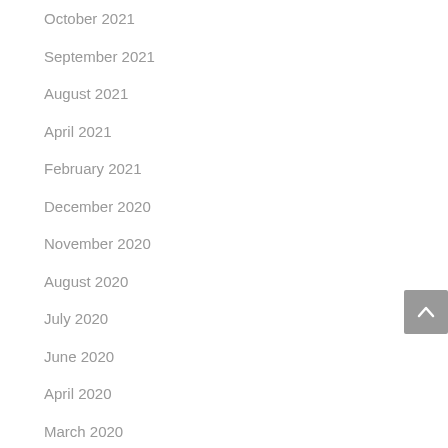October 2021
September 2021
August 2021
April 2021
February 2021
December 2020
November 2020
August 2020
July 2020
June 2020
April 2020
March 2020
February 2020
January 2020
December 2019